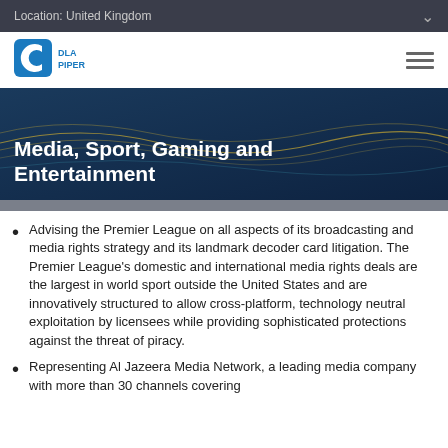Location: United Kingdom
[Figure (logo): DLA Piper logo — blue square with arc/C shape and company name]
Media, Sport, Gaming and Entertainment
Advising the Premier League on all aspects of its broadcasting and media rights strategy and its landmark decoder card litigation. The Premier League's domestic and international media rights deals are the largest in world sport outside the United States and are innovatively structured to allow cross-platform, technology neutral exploitation by licensees while providing sophisticated protections against the threat of piracy.
Representing Al Jazeera Media Network, a leading media company with more than 30 channels covering